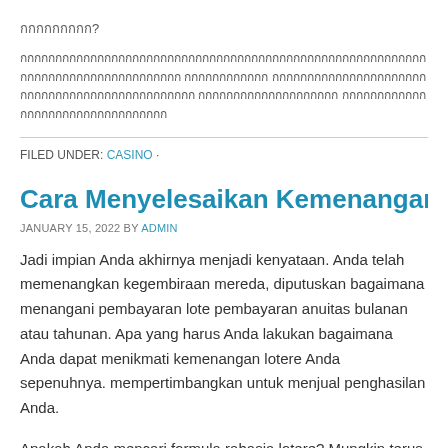กกกกกกกกก?
กกกกกกกกกกกกกกกกกกกกกกกกกกกกกกกกกกกกกกกกกกกกกกกกกกกกกกกกกกกกกกกกกกกกกกกกกกกกกกกกก กกกกกกกกกกกก กกกกกกกกกกกกกกกกกกกกกกกกกกกกกกกกกกกกกกกกกกกกกกก กกกกกกกกกกกกกกกกกกกก กกกกกกกกกกกกกกกกกกกกกกกกกกกกก
FILED UNDER: CASINO ·
Cara Menyelesaikan Kemenangan Awal Tiket Lo
JANUARY 15, 2022 BY ADMIN
Jadi impian Anda akhirnya menjadi kenyataan. Anda telah memenangkan kegembiraan mereda, diputuskan bagaimana menangani pembayaran lote pembayaran anuitas bulanan atau tahunan. Apa yang harus Anda lakukan bagaimana Anda dapat menikmati kemenangan lotere Anda sepenuhnya. mempertimbangkan untuk menjual penghasilan Anda.
Apakah Anda mencari formula rahasia lotere? Mungkin terus melakukan lo keberuntungan? Apakah Anda pernah percaya bahwa pada dasarnya Anda bermain lotre? Jika Anda mengatakan ya untuk ini, maka Anda mungkin m sedang mencari protokol rahasia lotere. Saya selalu bermimpi untuk mena